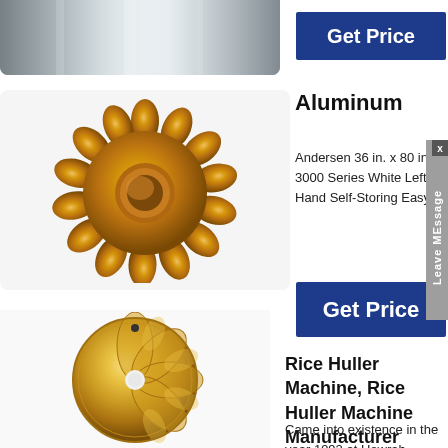[Figure (photo): Cropped top portion of a metallic silver cylindrical or rod-like machine part, shown from above with a gradient sheen]
[Figure (other): Blue 'Get Price' button (top)]
Aluminum
Andersen 36 in. x 80 in. 3000 Series White Left-Hand Self-Storing Easy
[Figure (photo): Brass/golden metallic cup or gear-shaped component with radial teeth or lobes, viewed from above at an angle, showing warm golden tones]
[Figure (other): Blue 'Get Price' button (bottom)]
[Figure (photo): Round golden brass disc with decorative petal/leaf pattern engraved or pressed into it, with a small central hole, viewed from above]
Rice Huller Machine, Rice Huller Machine Manufacturer
Came into existence in the year 1992 at Howrah,